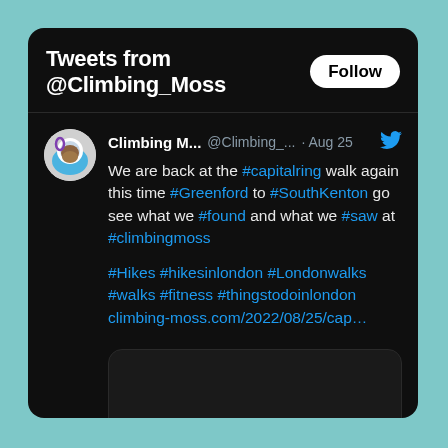Tweets from @Climbing_Moss
Climbing M... @Climbing_... · Aug 25
We are back at the #capitalring walk again this time #Greenford to #SouthKenton go see what we #found and what we #saw at #climbingmoss

#Hikes #hikesinlondon #Londonwalks #walks #fitness #thingstodoinlondon climbing-moss.com/2022/08/25/cap…